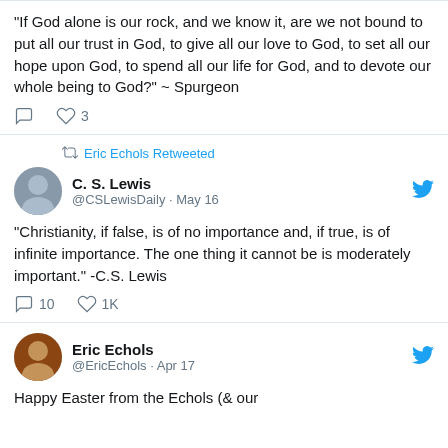“If God alone is our rock, and we know it, are we not bound to put all our trust in God, to give all our love to God, to set all our hope upon God, to spend all our life for God, and to devote our whole being to God?” ~ Spurgeon
3 likes
Eric Echols Retweeted
C. S. Lewis @CSLewisDaily · May 16
“Christianity, if false, is of no importance and, if true, is of infinite importance. The one thing it cannot be is moderately important.” -C.S. Lewis
10 comments, 1K likes
Eric Echols @EricEchols · Apr 17
Happy Easter from the Echols (& our